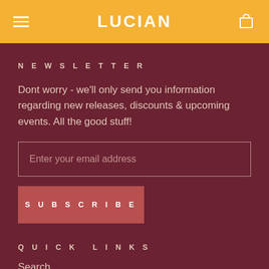LUCIAN
NEWSLETTER
Dont worry - we'll only send you information regarding new releases, discounts & upcoming events. All the good stuff!
Enter your email address
SUBSCRIBE
QUICK LINKS
Search
Shipping, Returns & Pri...